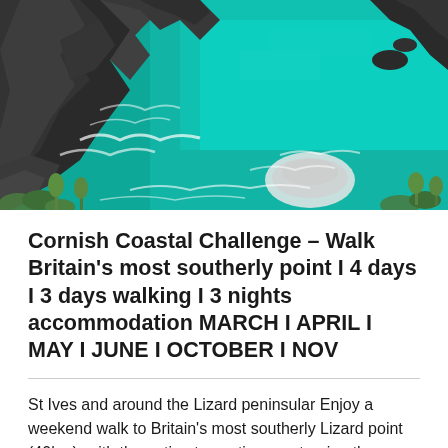[Figure (photo): Aerial view of a rocky Cornish coastline with vivid turquoise-blue sea water and dark rocky cliffs with green vegetation.]
Cornish Coastal Challenge – Walk Britain's most southerly point I 4 days I 3 days walking I 3 nights accommodation MARCH I APRIL I MAY I JUNE I OCTOBER I NOV
St Ives and around the Lizard peninsular Enjoy a weekend walk to Britain's most southerly Lizard point (40km), with the option to continue on turning the peninsula's to finish in